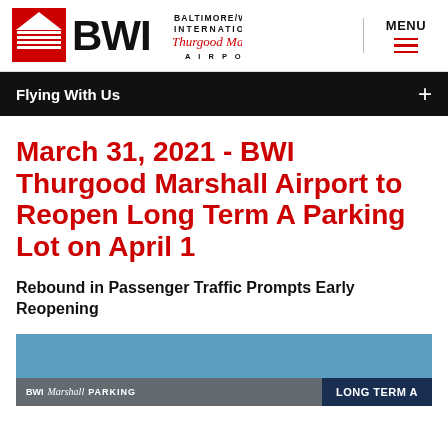[Figure (logo): BWI Baltimore/Washington International Thurgood Marshall Airport logo with red and black BWI letters and red script text]
MENU
Flying With Us
March 31, 2021 - BWI Thurgood Marshall Airport to Reopen Long Term A Parking Lot on April 1
Rebound in Passenger Traffic Prompts Early Reopening
[Figure (photo): Bottom portion of a parking lot sign showing BWI Marshall PARKING on left and LONG TERM A on right against blue sky]